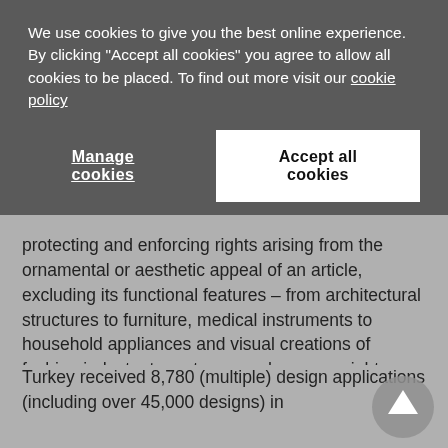We use cookies to give you the best online experience. By clicking "Accept all cookies" you agree to allow all cookies to be placed. To find out more visit our cookie policy
Manage cookies
Accept all cookies
protecting and enforcing rights arising from the ornamental or aesthetic appeal of an article, excluding its functional features – from architectural structures to furniture, medical instruments to household appliances and visual creations of fashion industry to cartoons – where copyright protection often remains ineffective.
Turkey received 8,780 (multiple) design applications (including over 45,000 designs) in